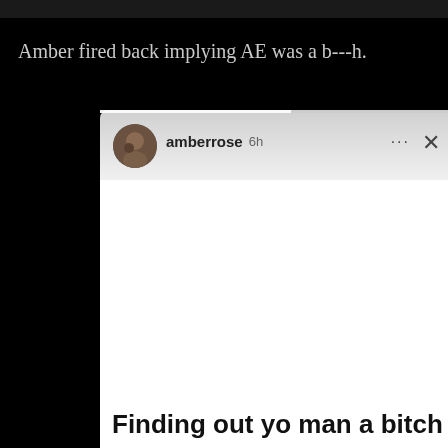Amber fired back implying AE was a b---h.
[Figure (screenshot): Instagram story screenshot from user 'amberrose' posted 6h ago, showing a white/gradient background with bold text at bottom reading 'Finding out yo man a bitch gotta']